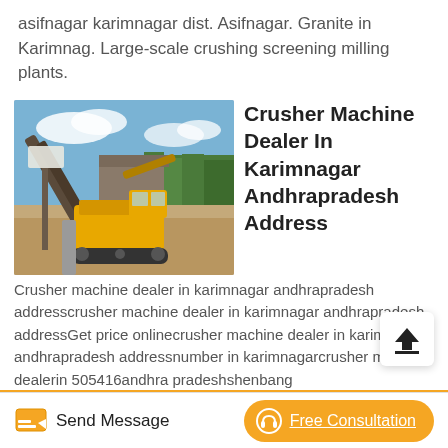asifnagar karimnagar dist. Asifnagar. Granite in Karimnag. Large-scale crushing screening milling plants.
[Figure (photo): Outdoor photograph of a yellow crusher/excavator machine at a stone crushing site with conveyor belts, trees, and a blue sky in the background.]
Crusher Machine Dealer In Karimnagar Andhrapradesh Address
Crusher machine dealer in karimnagar andhrapradesh addresscrusher machine dealer in karimnagar andhrapradesh addressGet price onlinecrusher machine dealer in karimnagar andhrapradesh addressnumber in karimnagarcrusher machine dealerin 505416andhra pradeshshenbang stonecrushingequipment is designed to achieve
Send Message   Free Consultation